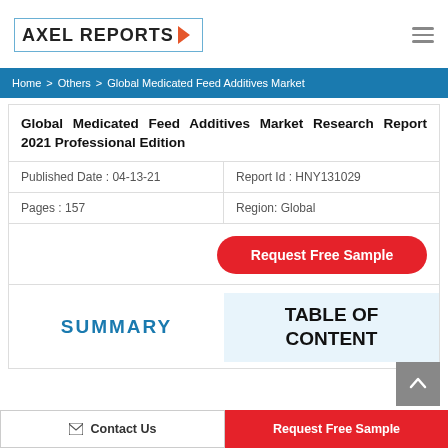[Figure (logo): Axel Reports logo with blue border box and orange chevron]
Home > Others > Global Medicated Feed Additives Market
Global Medicated Feed Additives Market Research Report 2021 Professional Edition
Published Date : 04-13-21
Report Id : HNY131029
Pages : 157
Region: Global
Request Free Sample
SUMMARY
TABLE OF CONTENT
Contact Us   Request Free Sample